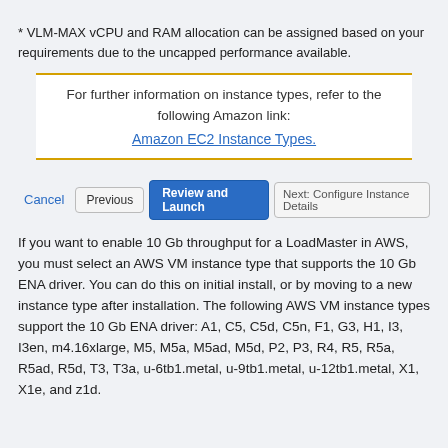* VLM-MAX vCPU and RAM allocation can be assigned based on your requirements due to the uncapped performance available.
For further information on instance types, refer to the following Amazon link: Amazon EC2 Instance Types.
[Figure (screenshot): UI button row with Cancel, Previous, Review and Launch, and Next: Configure Instance Details buttons]
If you want to enable 10 Gb throughput for a LoadMaster in AWS, you must select an AWS VM instance type that supports the 10 Gb ENA driver. You can do this on initial install, or by moving to a new instance type after installation. The following AWS VM instance types support the 10 Gb ENA driver: A1, C5, C5d, C5n, F1, G3, H1, I3, I3en, m4.16xlarge, M5, M5a, M5ad, M5d, P2, P3, R4, R5, R5a, R5ad, R5d, T3, T3a, u-6tb1.metal, u-9tb1.metal, u-12tb1.metal, X1, X1e, and z1d.